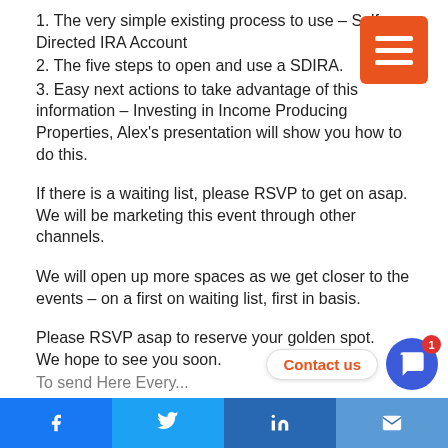1. The very simple existing process to use – Self Directed IRA Account
2. The five steps to open and use a SDIRA.
3. Easy next actions to take advantage of this information – Investing in Income Producing Properties, Alex's presentation will show you how to do this.
If there is a waiting list, please RSVP to get on asap. We will be marketing this event through other channels.
We will open up more spaces as we get closer to the events – on a first on waiting list, first in basis.
Please RSVP asap to reserve your golden spot.
We hope to see you soon.
f  Twitter  in  mail